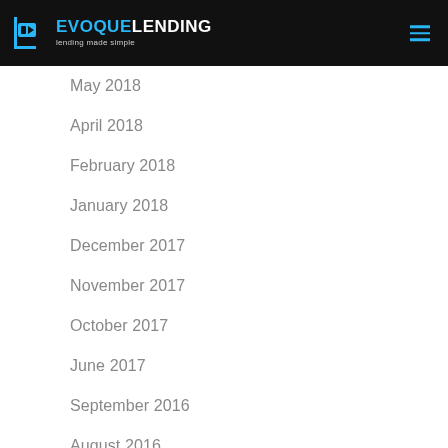EVOQUE LENDING — lending made simple
May 2018
April 2018
February 2018
January 2018
December 2017
November 2017
October 2017
June 2017
September 2016
August 2016